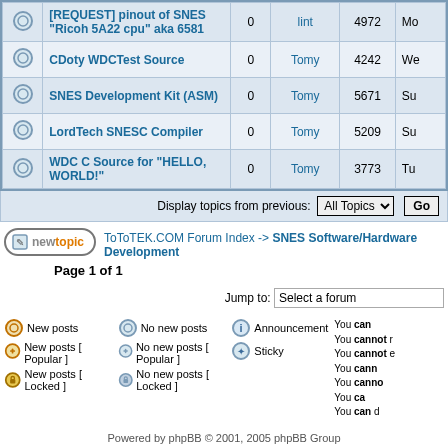|  | Topic | Replies | Author | Views | Last Post |
| --- | --- | --- | --- | --- | --- |
| icon | [REQUEST] pinout of SNES "Ricoh 5A22 cpu" aka 6581 | 0 | lint | 4972 | Mon |
| icon | CDoty WDCTest Source | 0 | Tomy | 4242 | Wed |
| icon | SNES Development Kit (ASM) | 0 | Tomy | 5671 | Sun |
| icon | LordTech SNESC Compiler | 0 | Tomy | 5209 | Sun |
| icon | WDC C Source for "HELLO, WORLD!" | 0 | Tomy | 3773 | Tue |
Display topics from previous: All Topics Go
ToToTEK.COM Forum Index -> SNES Software/Hardware Development
Page 1 of 1
Jump to: Select a forum
New posts
No new posts
Announcement
New posts [ Popular ]
No new posts [ Popular ]
Sticky
New posts [ Locked ]
No new posts [ Locked ]
You can
You cannot r
You cannot e
You cann
You canno
You ca
You can d
Powered by phpBB © 2001, 2005 phpBB Group